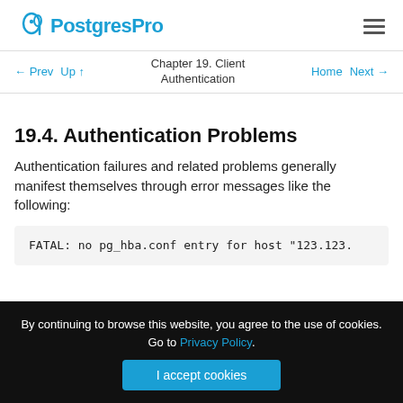PostgresPro
← Prev  Up ↑  Chapter 19. Client Authentication  Home  Next →
19.4. Authentication Problems
Authentication failures and related problems generally manifest themselves through error messages like the following:
FATAL:  no pg_hba.conf entry for host "123.123.
By continuing to browse this website, you agree to the use of cookies. Go to Privacy Policy.